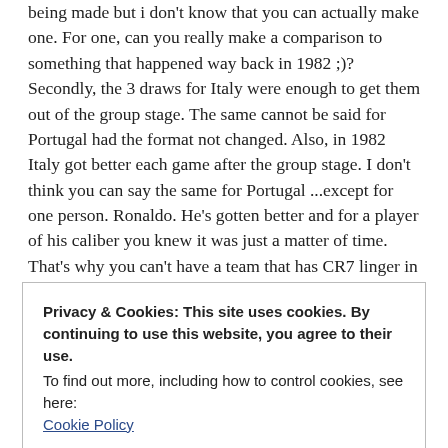...i obviously believe there was a comparison being made but i don't know that you can actually make one. For one, can you really make a comparison to something that happened way back in 1982 ;)? Secondly, the 3 draws for Italy were enough to get them out of the group stage. The same cannot be said for Portugal had the format not changed. Also, in 1982 Italy got better each game after the group stage. I don't think you can say the same for Portugal ...except for one person. Ronaldo. He's gotten better and for a player of his caliber you knew it was just a matter of time. That's why you can't have a team that has CR7 linger in a tournament because you know at one point it will come back to haunt you. He's just that good. I am a fan of Ronaldo and while he did struggle in the group stage and people shat on him on twitter, i defended him... Not that i have much clout! lol
Privacy & Cookies: This site uses cookies. By continuing to use this website, you agree to their use.
To find out more, including how to control cookies, see here:
Cookie Policy
Close and accept